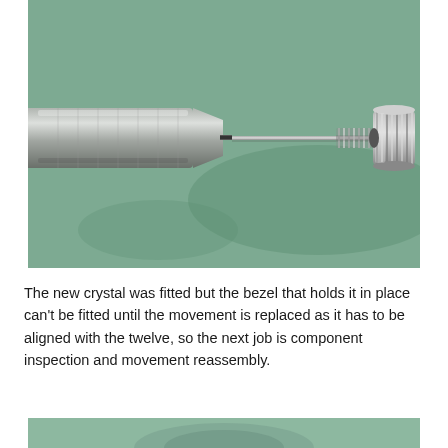[Figure (photo): Close-up macro photograph of a watch crown/stem component being held by a screwdriver or pin vice tool against a green background. The metal stem with a knurled crown is visible along with a coiled spring element.]
The new crystal was fitted but the bezel that holds it in place can't be fitted until the movement is replaced as it has to be aligned with the twelve, so the next job is component inspection and movement reassembly.
[Figure (photo): Partial view of watch components on a green background, showing the beginning of another close-up photo at the bottom of the page.]